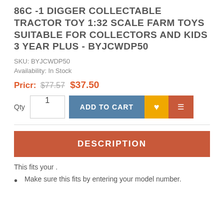86C -1 DIGGER COLLECTABLE TRACTOR TOY 1:32 SCALE FARM TOYS SUITABLE FOR COLLECTORS AND KIDS 3 YEAR PLUS - BYJCWDP50
SKU: BYJCWDP50
Availability: In Stock
Pricr: $77.57 $37.50
Qty 1  ADD TO CART
DESCRIPTION
This fits your .
Make sure this fits by entering your model number.